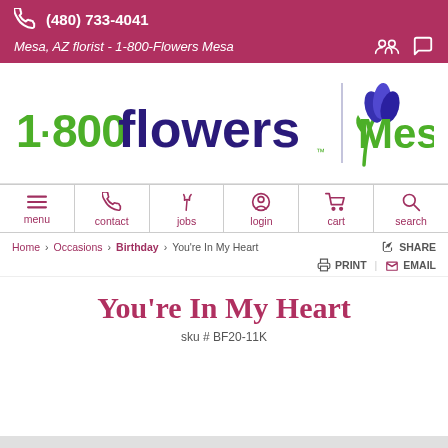(480) 733-4041 | Mesa, AZ florist - 1-800-Flowers Mesa
[Figure (logo): 1-800-Flowers Mesa logo with green and purple tulip graphic and green '1-800-flowers' text and green 'Mesa' text]
[Figure (infographic): Navigation bar with icons and labels: menu, contact, jobs, login, cart, search]
Home | Occasions | Birthday | You're In My Heart | SHARE
PRINT | EMAIL
You're In My Heart
sku # BF20-11K